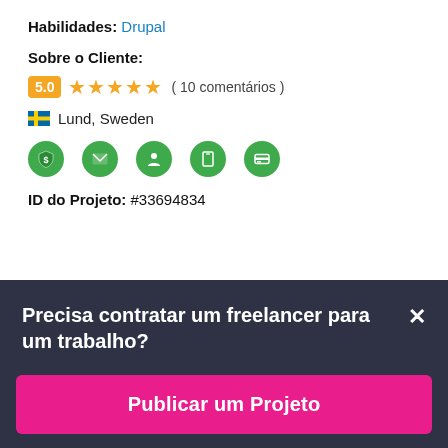Habilidades: Drupal
Sobre o Cliente:
5.0 ★★★★★ ( 10 comentários )
🇸🇪 Lund, Sweden
[Figure (infographic): Row of 5 green verification icons: dollar shield, email envelope, person, phone, credit card]
ID do Projeto: #33694834
Afim de ganhar algum dinheiro?
Precisa contratar um freelancer para um trabalho?
Publicar um Projeto